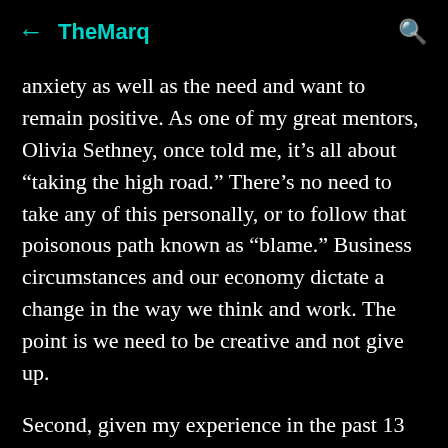TheMarq
anxiety as well as the need and want to remain positive. As one of my great mentors, Olivia Sethney, once told me, it’s all about “taking the high road.” There’s no need to take any of this personally, or to follow that poisonous path known as “blame.” Business circumstances and our economy dictate a change in the way we think and work. The point is we need to be creative and not give up.
Second, given my experience in the past 13 years in software development and, especially, my